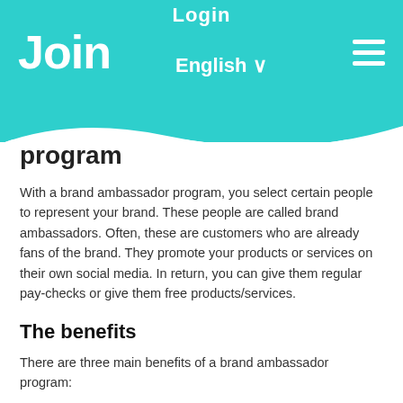Login | Join | English | Menu
program
With a brand ambassador program, you select certain people to represent your brand. These people are called brand ambassadors. Often, these are customers who are already fans of the brand. They promote your products or services on their own social media. In return, you can give them regular pay-checks or give them free products/services.
The benefits
There are three main benefits of a brand ambassador program: